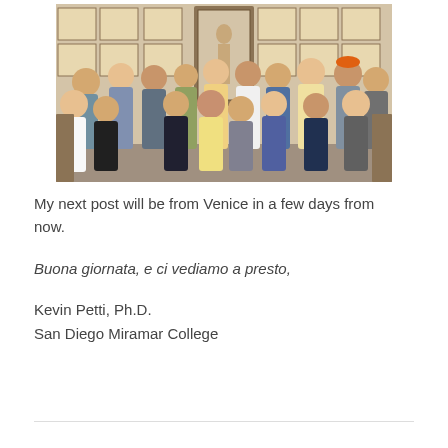[Figure (photo): Group photo of approximately 15-16 people standing together inside a room with anatomical illustrations/charts on the walls and a display cabinet in the background. People are smiling and posing for the camera.]
My next post will be from Venice in a few days from now.
Buona giornata, e ci vediamo a presto,
Kevin Petti, Ph.D.
San Diego Miramar College